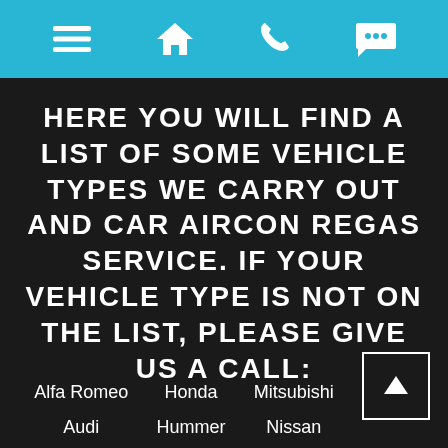[navigation bar with menu, home, phone, and chat icons]
HERE YOU WILL FIND A LIST OF SOME VEHICLE TYPES WE CARRY OUT AND CAR AIRCON REGAS SERVICE. IF YOUR VEHICLE TYPE IS NOT ON THE LIST, PLEASE GIVE US A CALL:
Alfa Romeo
Audi
Honda
Hummer
Mitsubishi
Nissan